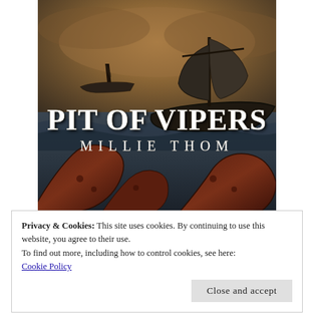[Figure (illustration): Book cover for 'Pit of Vipers' by Millie Thom. Dark atmospheric scene with Viking longships on a stormy sea under a brownish-grey sky, and large dark serpent/octopus tentacles in the foreground. Title text 'PIT OF VIPERS' in large white serif font with decorative styling, and author name 'MILLIE THOM' in spaced white serif letters below.]
Privacy & Cookies: This site uses cookies. By continuing to use this website, you agree to their use.
To find out more, including how to control cookies, see here:
Cookie Policy
Close and accept